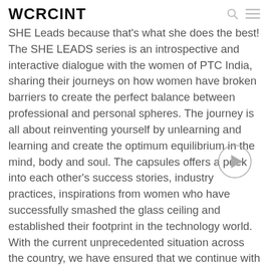WCRCINT
SHE Leads because that's what she does the best! The SHE LEADS series is an introspective and interactive dialogue with the women of PTC India, sharing their journeys on how women have broken barriers to create the perfect balance between professional and personal spheres. The journey is all about reinventing yourself by unlearning and learning and create the optimum equilibrium in the mind, body and soul. The capsules offers a peek into each other's success stories, industry practices, inspirations from women who have successfully smashed the glass ceiling and established their footprint in the technology world. With the current unprecedented situation across the country, we have ensured that we continue with the series through the virtual medium.